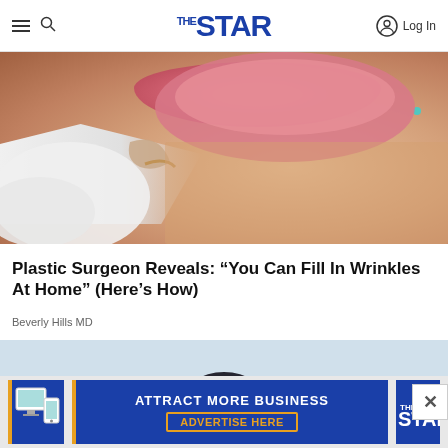The Star - navigation bar with hamburger menu, search icon, The Star logo, and Log In button
[Figure (photo): Close-up photo of a person's lower face with a gloved hand near the chin area, likely a cosmetic/medical procedure illustration. Person has pink lips and is wearing a teal earring.]
Plastic Surgeon Reveals: “You Can Fill In Wrinkles At Home” (Here’s How)
Beverly Hills MD
[Figure (photo): Photo of a dark-haired woman looking upward against a light blue sky background.]
[Figure (infographic): Advertisement banner: Attract More Business - Advertise Here, featuring The Star logo and device illustrations]